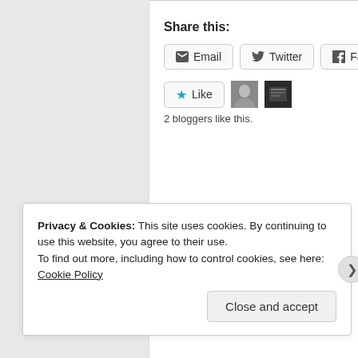Share this:
Email  Twitter  Facebook
Like  2 bloggers like this.
Privacy & Cookies: This site uses cookies. By continuing to use this website, you agree to their use.
To find out more, including how to control cookies, see here: Cookie Policy
Close and accept